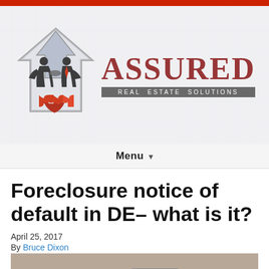[Figure (logo): Assured Real Estate Solutions logo with two silhouetted businessmen shaking hands over a house outline with red puzzle pieces at the bottom, alongside the text ASSURED REAL ESTATE SOLUTIONS]
Menu ▾
Foreclosure notice of default in DE– what is it?
April 25, 2017
By Bruce Dixon
[Figure (photo): Partial view of a foreclosure-related photo showing a house model and what appears to be a calculator or phone on a desk]